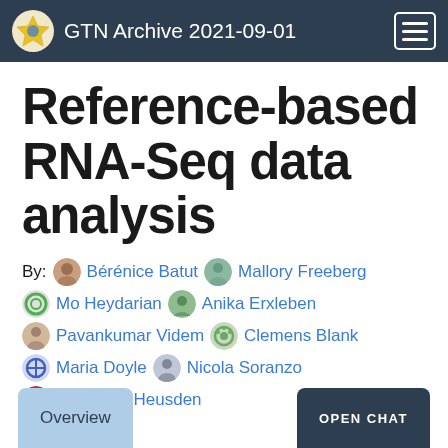GTN Archive 2021-09-01
Reference-based RNA-Seq data analysis
By: Bérénice Batut, Mallory Freeberg, Mo Heydarian, Anika Erxleben, Pavankumar Videm, Clemens Blank, Maria Doyle, Nicola Soranzo, Peter van Heusden
Overview
OPEN CHAT